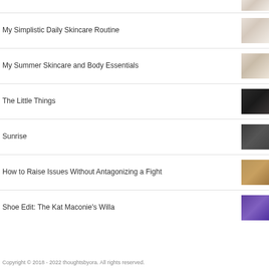My Simplistic Daily Skincare Routine
My Summer Skincare and Body Essentials
The Little Things
Sunrise
How to Raise Issues Without Antagonizing a Fight
Shoe Edit: The Kat Maconie's Willa
Copyright © 2018 - 2022 thoughtsbyora. All rights reserved.